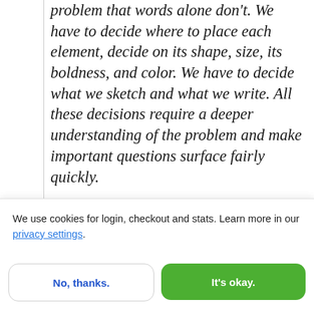problem that words alone don't. We have to decide where to place each element, decide on its shape, size, its boldness, and color. We have to decide what we sketch and what we write. All these decisions require a deeper understanding of the problem and make important questions surface fairly quickly.

All in all, supporting your collaboration by making it more visual works like a catalyst for
We use cookies for login, checkout and stats. Learn more in our privacy settings.